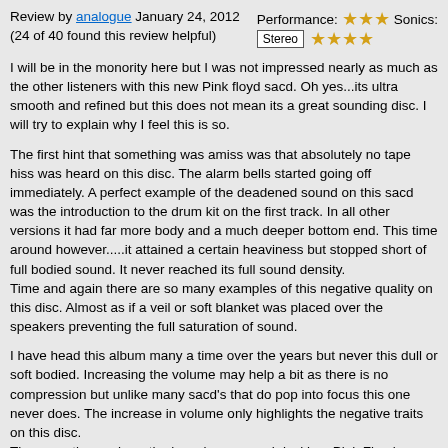Review by analogue January 24, 2012 (24 of 40 found this review helpful)
Performance: ★★★ Sonics: Stereo ★★★★
I will be in the monority here but I was not impressed nearly as much as the other listeners with this new Pink floyd sacd. Oh yes...its ultra smooth and refined but this does not mean its a great sounding disc. I will try to explain why I feel this is so.
The first hint that something was amiss was that absolutely no tape hiss was heard on this disc. The alarm bells started going off immediately. A perfect example of the deadened sound on this sacd was the introduction to the drum kit on the first track. In all other versions it had far more body and a much deeper bottom end. This time around however.....it attained a certain heaviness but stopped short of full bodied sound. It never reached its full sound density.
Time and again there are so many examples of this negative quality on this disc. Almost as if a veil or soft blanket was placed over the speakers preventing the full saturation of sound.
I have head this album many a time over the years but never this dull or soft bodied. Increasing the volume may help a bit as there is no compression but unlike many sacd's that do pop into focus this one never does. The increase in volume only highlights the negative traits on this disc.
There are times where the bass is very much lacking. Pink Floyd were fantastic studio musicians and they make great recordings. This album should have sounded much better than what we are hearing. There is nothing dull on this album until now.